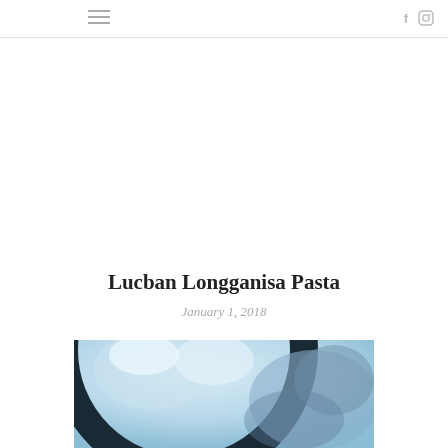≡  f  Instagram
Lucban Longganisa Pasta
January 1, 2018
[Figure (photo): Partial view of a bowl of pasta dish, blurred blue and white colors with a dark rim visible]